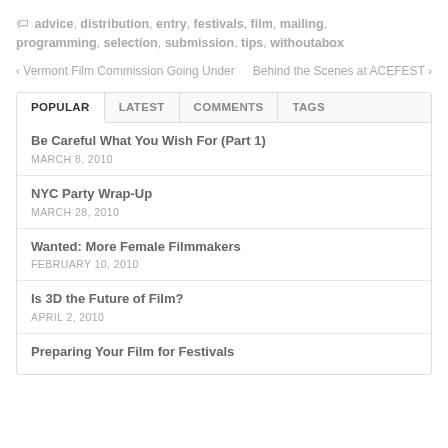🏷 advice, distribution, entry, festivals, film, mailing, programming, selection, submission, tips, withoutabox
‹ Vermont Film Commission Going Under    Behind the Scenes at ACEFEST ›
POPULAR  LATEST  COMMENTS  TAGS
Be Careful What You Wish For (Part 1)
MARCH 8, 2010
NYC Party Wrap-Up
MARCH 28, 2010
Wanted: More Female Filmmakers
FEBRUARY 10, 2010
Is 3D the Future of Film?
APRIL 2, 2010
Preparing Your Film for Festivals